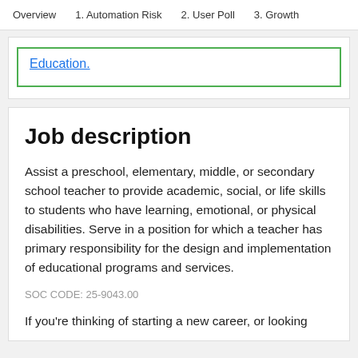Overview   1. Automation Risk   2. User Poll   3. Growth
Education.
Job description
Assist a preschool, elementary, middle, or secondary school teacher to provide academic, social, or life skills to students who have learning, emotional, or physical disabilities. Serve in a position for which a teacher has primary responsibility for the design and implementation of educational programs and services.
SOC CODE: 25-9043.00
If you're thinking of starting a new career, or looking